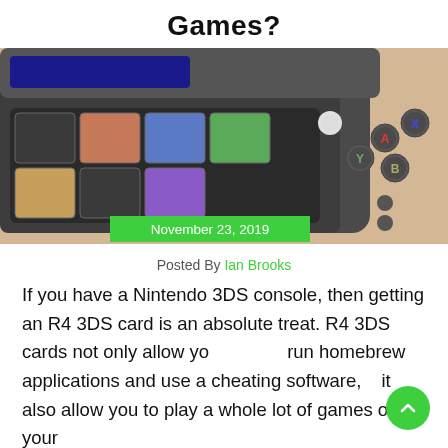Games?
[Figure (photo): Close-up photo of a Nintendo 3DS handheld gaming console showing the bottom screen with game icons, the analog stick, and the ABXY buttons. A green date badge reads November 23, 2019.]
Posted By Ian Brooks
If you have a Nintendo 3DS console, then getting an R4 3DS card is an absolute treat. R4 3DS cards not only allow you run homebrew applications and use a cheating software, but it also allow you to play a whole lot of games on your